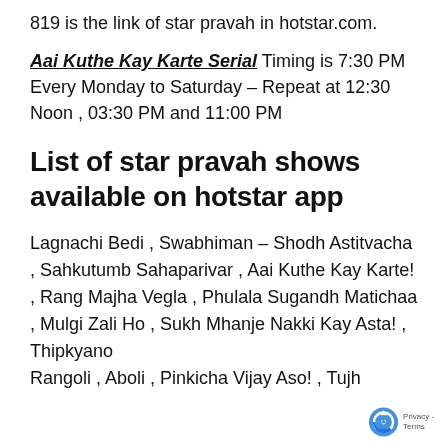819 is the link of star pravah in hotstar.com.
Aai Kuthe Kay Karte Serial Timing is 7:30 PM Every Monday to Saturday – Repeat at 12:30 Noon , 03:30 PM and 11:00 PM
List of star pravah shows available on hotstar app
Lagnachi Bedi , Swabhiman – Shodh Astitvacha , Sahkutumb Sahaparivar , Aai Kuthe Kay Karte! , Rang Majha Vegla , Phulala Sugandh Matichaa , Mulgi Zali Ho , Sukh Mhanje Nakki Kay Asta! , Thipkyanche Rangoli , Aboli , Pinkicha Vijay Aso! , Tujh...